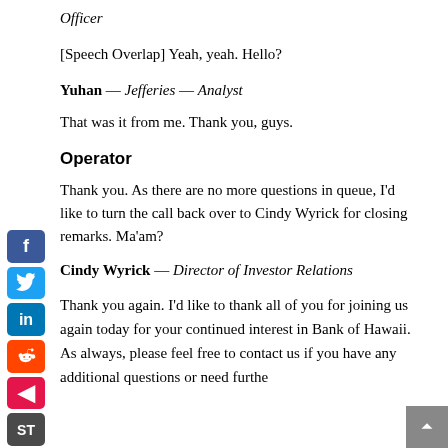Officer
[Speech Overlap] Yeah, yeah. Hello?
Yuhan — Jefferies — Analyst
That was it from me. Thank you, guys.
Operator
Thank you. As there are no more questions in queue, I'd like to turn the call back over to Cindy Wyrick for closing remarks. Ma'am?
Cindy Wyrick — Director of Investor Relations
Thank you again. I'd like to thank all of you for joining us again today for your continued interest in Bank of Hawaii. As always, please feel free to contact us if you have any additional questions or need further...